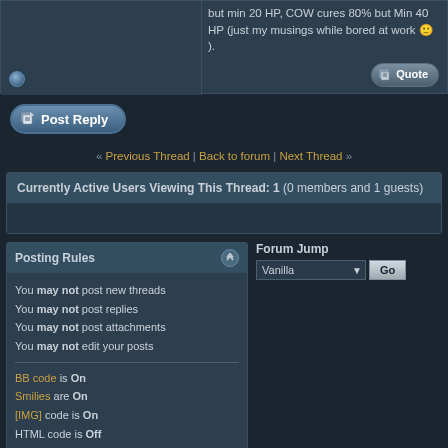but min 20 HP, COW cures 80% but Min 40 HP (just my musings while bored at work ).
[Figure (screenshot): Post Reply button with icon]
« Previous Thread | Back to forum | Next Thread »
Currently Active Users Viewing This Thread: 1 (0 members and 1 guests)
Posting Rules
You may not post new threads
You may not post replies
You may not post attachments
You may not edit your posts
BB code is On
Smilies are On
[IMG] code is On
HTML code is Off
Forum Rules
Forum Jump
Similar Threads